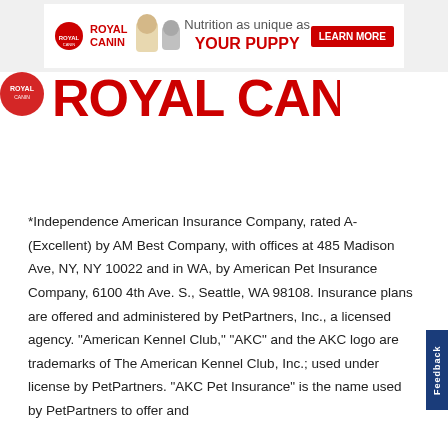[Figure (logo): Royal Canin advertisement banner: logo with crown icon and text ROYAL CANIN, golden retriever puppy and cat photos, tagline 'Nutrition as unique as YOUR PUPPY', red LEARN MORE button on light grey background]
[Figure (logo): Royal Canin brand logo: red circular badge on left, large red bold text reading ROYAL CANIN]
*Independence American Insurance Company, rated A-(Excellent) by AM Best Company, with offices at 485 Madison Ave, NY, NY 10022 and in WA, by American Pet Insurance Company, 6100 4th Ave. S., Seattle, WA 98108. Insurance plans are offered and administered by PetPartners, Inc., a licensed agency. "American Kennel Club," "AKC" and the AKC logo are trademarks of The American Kennel Club, Inc.; used under license by PetPartners. "AKC Pet Insurance" is the name used by PetPartners to offer and